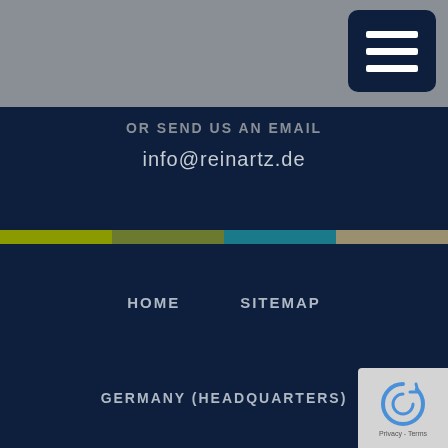[Figure (screenshot): Gray header bar with dark navy hamburger menu button (three white horizontal lines) in top right corner]
OR SEND US AN EMAIL
info@reinartz.de
[Figure (infographic): Horizontal color bar divided into four equal segments: yellow-green, dark olive, teal, and tan/khaki]
HOME
SITEMAP
GERMANY (HEADQUARTERS)
[Figure (logo): reCAPTCHA badge with circular arrow logo and Privacy - Terms text]